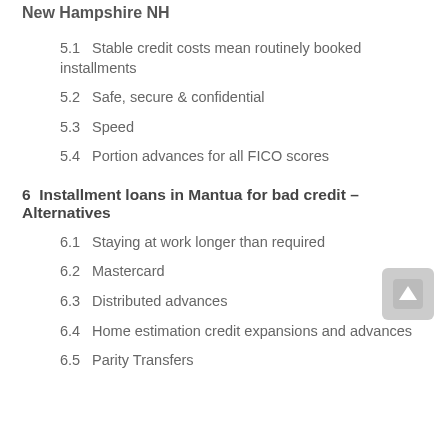New Hampshire NH
5.1  Stable credit costs mean routinely booked installments
5.2  Safe, secure & confidential
5.3  Speed
5.4  Portion advances for all FICO scores
6  Installment loans in Mantua for bad credit – Alternatives
6.1  Staying at work longer than required
6.2  Mastercard
6.3  Distributed advances
6.4  Home estimation credit expansions and advances
6.5  Parity Transfers